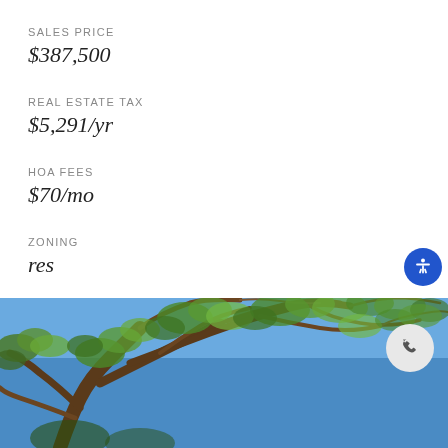SALES PRICE
$387,500
REAL ESTATE TAX
$5,291/yr
HOA FEES
$70/mo
ZONING
res
[Figure (photo): Upward view through tree branches with green leaves against a blue sky]